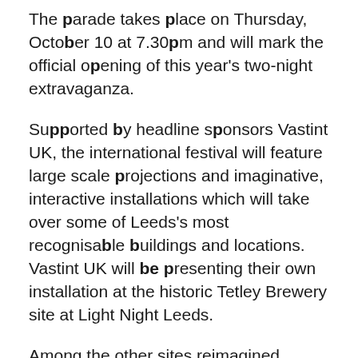The parade takes place on Thursday, October 10 at 7.30pm and will mark the official opening of this year's two-night extravaganza.
Supported by headline sponsors Vastint UK, the international festival will feature large scale projections and imaginative, interactive installations which will take over some of Leeds's most recognisable buildings and locations. Vastint UK will be presenting their own installation at the historic Tetley Brewery site at Light Night Leeds.
Among the other sites reimagined during the event will be Leeds Town Hall, Kirkgate Market, Leeds Dock and The Queen's Hotel. Elsewhere, the